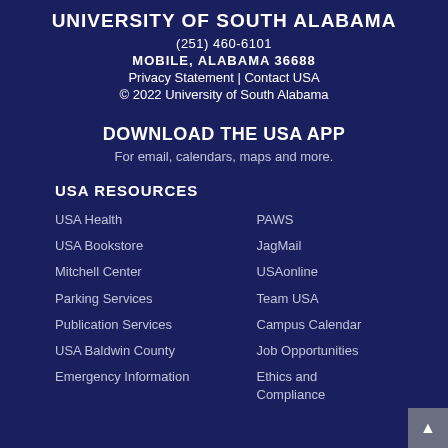UNIVERSITY OF SOUTH ALABAMA
(251) 460-6101
MOBILE, ALABAMA 36688
Privacy Statement | Contact USA
© 2022 University of South Alabama
DOWNLOAD THE USA APP
For email, calendars, maps and more.
USA RESOURCES
USA Health
USA Bookstore
Mitchell Center
Parking Services
Publication Services
USA Baldwin County
Emergency Information
PAWS
JagMail
USAonline
Team USA
Campus Calendar
Job Opportunities
Ethics and Compliance